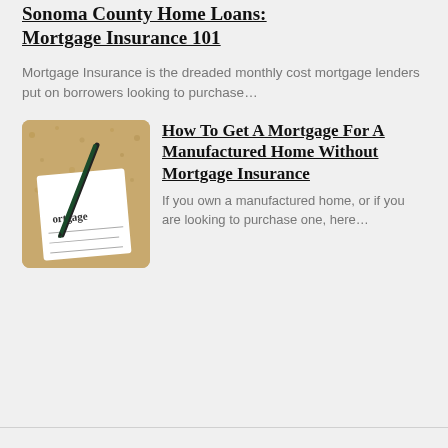Sonoma County Home Loans: Mortgage Insurance 101
Mortgage Insurance is the dreaded monthly cost mortgage lenders put on borrowers looking to purchase…
[Figure (photo): Photo of a mortgage document with a pen on a cork board background]
How To Get A Mortgage For A Manufactured Home Without Mortgage Insurance
If you own a manufactured home, or if you are looking to purchase one, here…